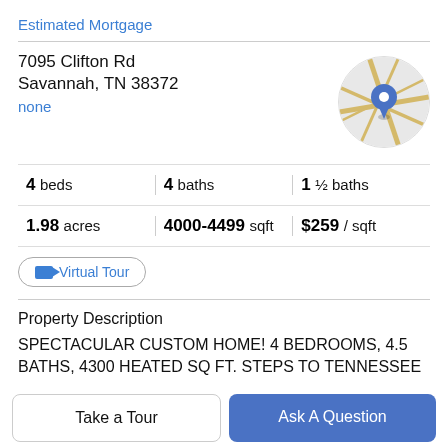Estimated Mortgage
7095 Clifton Rd
Savannah, TN 38372
none
[Figure (map): Circular map thumbnail showing a location pin marker on a street map]
4 beds | 4 baths | 1 ½ baths
1.98 acres | 4000-4499 sqft | $259 / sqft
Virtual Tour
Property Description
SPECTACULAR CUSTOM HOME! 4 BEDROOMS, 4.5 BATHS, 4300 HEATED SQ FT. STEPS TO TENNESSEE
Take a Tour
Ask A Question